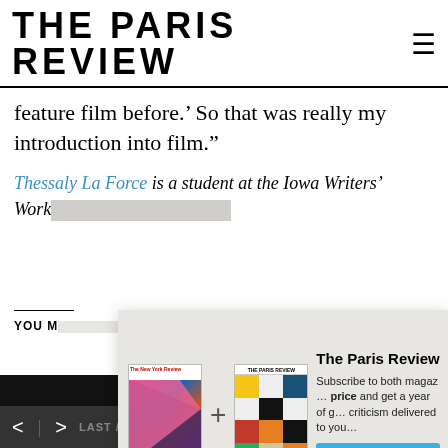THE PARIS REVIEW
feature film before.’ So that was really my introduction into film.”
Thessaly La Force is a student at the Iowa Writers’ Work...
[Figure (infographic): The Paris Review subscription promotion modal with two magazine covers (The New York Review and The Paris Review), a plus sign between them, subscription text, and a Subscribe Now button.]
Dire Disaster
By Rachel Heise Bolten
< | > LAST / NEXT ARTICLE    SHARE